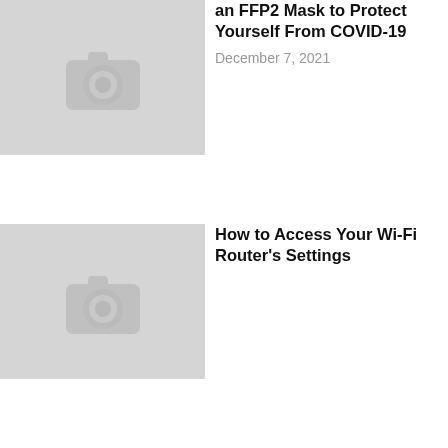[Figure (photo): Placeholder image thumbnail with camera icon for article about FFP2 Mask]
an FFP2 Mask to Protect Yourself From COVID-19
December 7, 2021
[Figure (photo): Placeholder image thumbnail with camera icon for article about Wi-Fi Router Settings]
How to Access Your Wi-Fi Router's Settings